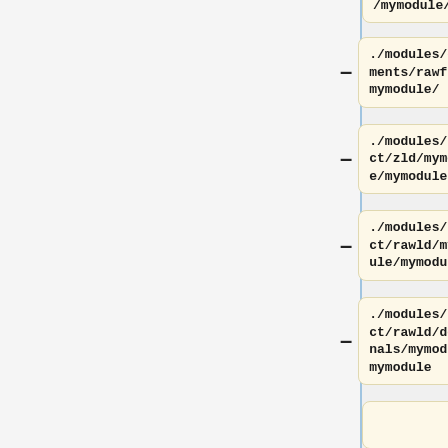./modules/comments/rawcom4/mymodule/
./modules/comments/rawfiles/mymodule/
./modules/lexdict/zld/mymodule/mymodule
./modules/lexdict/rawld/mymodule/mymodule
./modules/lexdict/rawld/devotionals/mymodule/mymodule